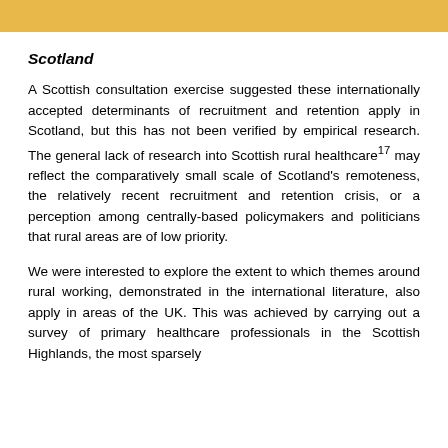Scotland
A Scottish consultation exercise suggested these internationally accepted determinants of recruitment and retention apply in Scotland, but this has not been verified by empirical research. The general lack of research into Scottish rural healthcare¹⁷ may reflect the comparatively small scale of Scotland's remoteness, the relatively recent recruitment and retention crisis, or a perception among centrally-based policymakers and politicians that rural areas are of low priority.
We were interested to explore the extent to which themes around rural working, demonstrated in the international literature, also apply in areas of the UK. This was achieved by carrying out a survey of primary healthcare professionals in the Scottish Highlands, the most sparsely